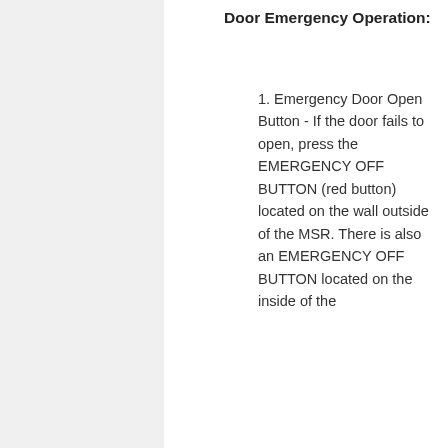Door Emergency Operation:
1. Emergency Door Open Button - If the door fails to open, press the EMERGENCY OFF BUTTON (red button) located on the wall outside of the MSR. There is also an EMERGENCY OFF BUTTON located on the inside of the